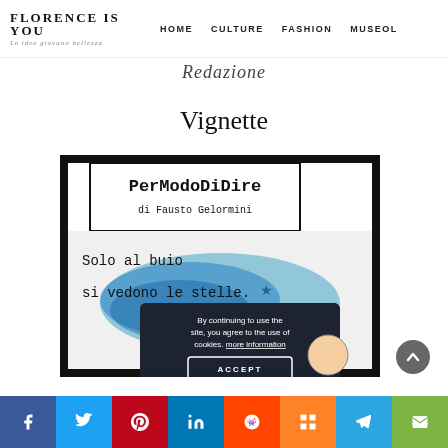FLORENCE IS YOU | Le idee giovano bellezza | HOME | CULTURE | FASHION | MUSEOL
Redazione
Vignette
[Figure (illustration): Book comic strip image: 'PerModoDiDire di Fausto Gelormini' with text 'Solo al buio si vedono le stelle.' over a blue watercolor background with stars, overlaid with a cookie consent banner reading 'By continuing to use the site, you agree to the use of cookies. more information' and an ACCEPT button.]
By continuing to use the site, you agree to the use of cookies. more information
ACCEPT